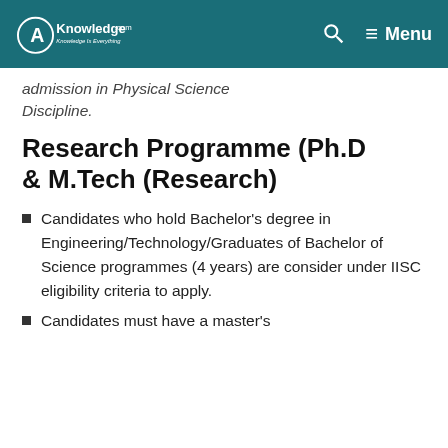AKnowledge.com — Menu
admission in Physical Science Discipline.
Research Programme (Ph.D & M.Tech (Research)
Candidates who hold Bachelor's degree in Engineering/Technology/Graduates of Bachelor of Science programmes (4 years) are consider under IISC eligibility criteria to apply.
Candidates must have a master's